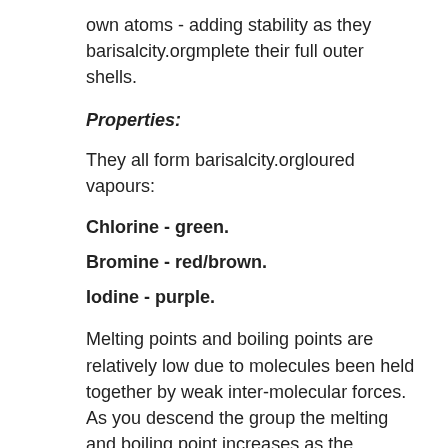own atoms - adding stability as they barisalcity.orgmplete their full outer shells.
Properties:
They all form barisalcity.orgloured vapours:
Chlorine - green.
Bromine - red/brown.
Iodine - purple.
Melting points and boiling points are relatively low due to molecules been held together by weak inter-molecular forces. As you descend the group the melting and boiling point increases as the attraction between molecules gets larger.
As with the noble gases, the halogens do have similar properties but not exactly the same ones. For